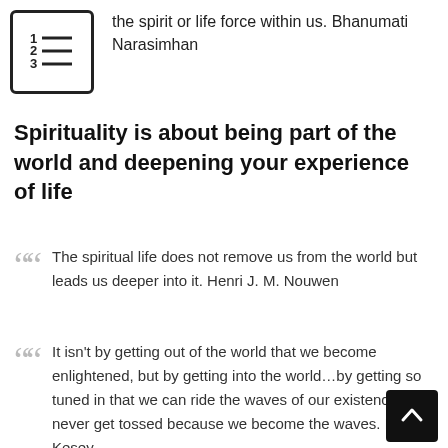[Figure (other): Numbered list icon — a box with lines representing items 1, 2, 3]
the spirit or life force within us. Bhanumati Narasimhan
Spirituality is about being part of the world and deepening your experience of life
The spiritual life does not remove us from the world but leads us deeper into it. Henri J. M. Nouwen
It isn't by getting out of the world that we become enlightened, but by getting into the world…by getting so tuned in that we can ride the waves of our existence and never get tossed because we become the waves. Ken Kesey